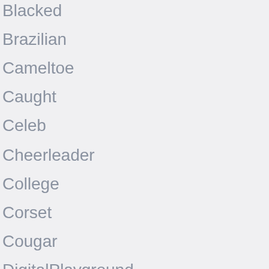Blacked
Brazilian
Cameltoe
Caught
Celeb
Cheerleader
College
Corset
Cougar
DigitalPlayground
Doggystyle
Dress
Drunk
Fake Cop